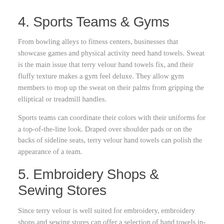4. Sports Teams & Gyms
From bowling alleys to fitness centers, businesses that showcase games and physical activity need hand towels. Sweat is the main issue that terry velour hand towels fix, and their fluffy texture makes a gym feel deluxe. They allow gym members to mop up the sweat on their palms from gripping the elliptical or treadmill handles.
Sports teams can coordinate their colors with their uniforms for a top-of-the-line look. Draped over shoulder pads or on the backs of sideline seats, terry velour hand towels can polish the appearance of a team.
5. Embroidery Shops & Sewing Stores
Since terry velour is well suited for embroidery, embroidery shops and sewing stores can offer a selection of hand towels in-house. For promotional or personal purposes, your customers can get their design